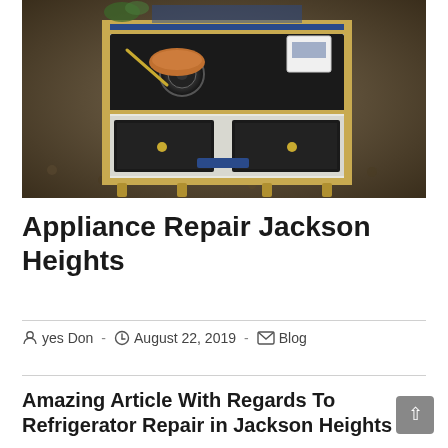[Figure (photo): Close-up photo of a miniature ornate vintage stove/range toy with copper pots and blue decorative tile border, sitting on a gravel surface.]
Appliance Repair Jackson Heights
yes Don  -  August 22, 2019  -  Blog
Amazing Article With Regards To Refrigerator Repair in Jackson Heights